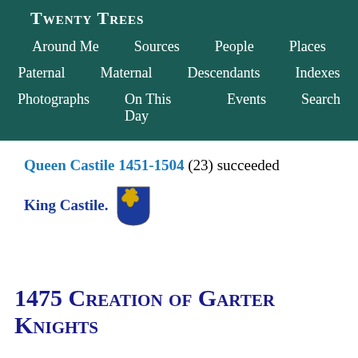Twenty Trees
Around Me   Sources   People   Places
Paternal   Maternal   Descendants   Indexes
Photographs   On This Day   Events   Search
Queen Castile 1451-1504 (23) succeeded King Castile.
1475 Creation of Garter Knights